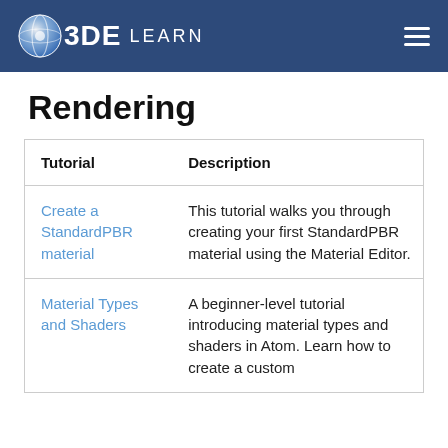O3DE LEARN
Rendering
| Tutorial | Description |
| --- | --- |
| Create a StandardPBR material | This tutorial walks you through creating your first StandardPBR material using the Material Editor. |
| Material Types and Shaders | A beginner-level tutorial introducing material types and shaders in Atom. Learn how to create a custom |